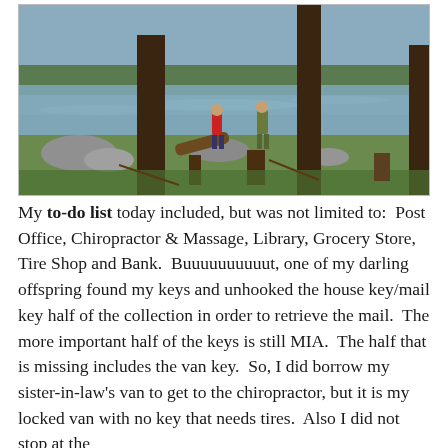[Figure (photo): Outdoor lakeside scene with tall pine trees in the foreground, two people standing near the water's edge, rocky and grassy shoreline, and a calm lake with trees in the background.]
My to-do list today included, but was not limited to:  Post Office, Chiropractor & Massage, Library, Grocery Store, Tire Shop and Bank.  Buuuuuuuuuut, one of my darling offspring found my keys and unhooked the house key/mail key half of the collection in order to retrieve the mail.  The more important half of the keys is still MIA.  The half that is missing includes the van key.  So, I did borrow my sister-in-law's van to get to the chiropractor, but it is my locked van with no key that needs tires.  Also I did not stop at the